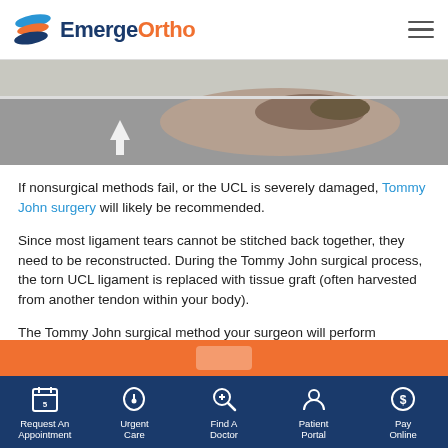EmergeOrtho
[Figure (photo): Aerial view of a road/driveway with a white arrow marking and landscaping median]
If nonsurgical methods fail, or the UCL is severely damaged, Tommy John surgery will likely be recommended.
Since most ligament tears cannot be stitched back together, they need to be reconstructed. During the Tommy John surgical process, the torn UCL ligament is replaced with tissue graft (often harvested from another tendon within your body).
The Tommy John surgical method your surgeon will perform depends on a variety of patient-specific factors, such as the size, location of the...
Request An Appointment | Urgent Care | Find A Doctor | Patient Portal | Pay Online